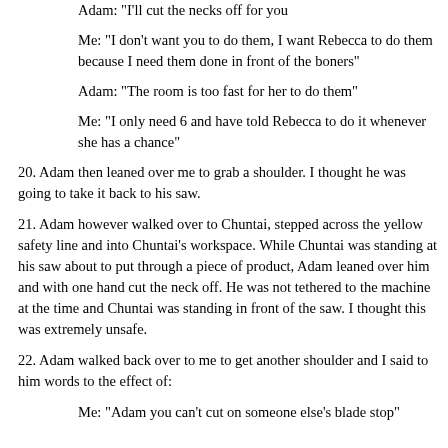Adam: "I'll cut the necks off for you"
Me: "I don't want you to do them, I want Rebecca to do them because I need them done in front of the boners"
Adam: "The room is too fast for her to do them"
Me: "I only need 6 and have told Rebecca to do it whenever she has a chance"
20. Adam then leaned over me to grab a shoulder. I thought he was going to take it back to his saw.
21. Adam however walked over to Chuntai, stepped across the yellow safety line and into Chuntai's workspace. While Chuntai was standing at his saw about to put through a piece of product, Adam leaned over him and with one hand cut the neck off. He was not tethered to the machine at the time and Chuntai was standing in front of the saw. I thought this was extremely unsafe.
22. Adam walked back over to me to get another shoulder and I said to him words to the effect of:
Me: "Adam you can't cut on someone else's blade stop"